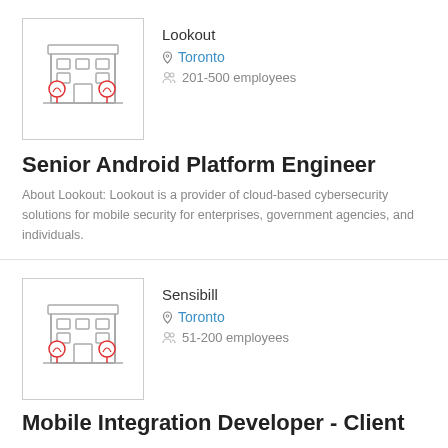[Figure (illustration): Building/office illustration with trees, gray line art style]
Lookout
Toronto
201-500 employees
Senior Android Platform Engineer
About Lookout: Lookout is a provider of cloud-based cybersecurity solutions for mobile security for enterprises, government agencies, and individuals.
[Figure (illustration): Building/office illustration with trees, gray line art style]
Sensibill
Toronto
51-200 employees
Mobile Integration Developer - Client